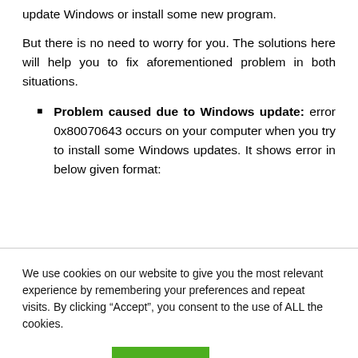update Windows or install some new program.
But there is no need to worry for you. The solutions here will help you to fix aforementioned problem in both situations.
Problem caused due to Windows update: error 0x80070643 occurs on your computer when you try to install some Windows updates. It shows error in below given format:
We use cookies on our website to give you the most relevant experience by remembering your preferences and repeat visits. By clicking “Accept”, you consent to the use of ALL the cookies.
Cookie settings
ACCEPT